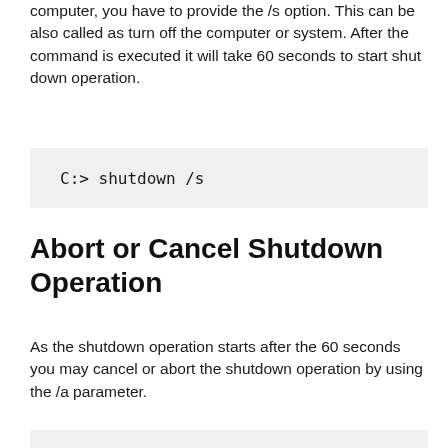computer, you have to provide the /s option. This can be also called as turn off the computer or system. After the command is executed it will take 60 seconds to start shut down operation.
C:> shutdown /s
Abort or Cancel Shutdown Operation
As the shutdown operation starts after the 60 seconds you may cancel or abort the shutdown operation by using the /a parameter.